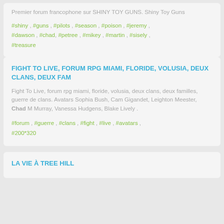Premier forum francophone sur SHINY TOY GUNS. Shiny Toy Guns
#shiny , #guns , #pilots , #season , #poison , #jeremy , #dawson , #chad , #petree , #mikey , #martin , #sisely , #treasure
FIGHT TO LIVE, FORUM RPG MIAMI, FLORIDE, VOLUSIA, DEUX CLANS, DEUX FAM
Fight To Live, forum rpg miami, floride, volusia, deux clans, deux familles, guerre de clans. Avatars Sophia Bush, Cam Gigandet, Leighton Meester, Chad M Murray, Vanessa Hudgens, Blake Lively .
#forum , #guerre , #clans , #fight , #live , #avatars , #200*320
LA VIE À TREE HILL